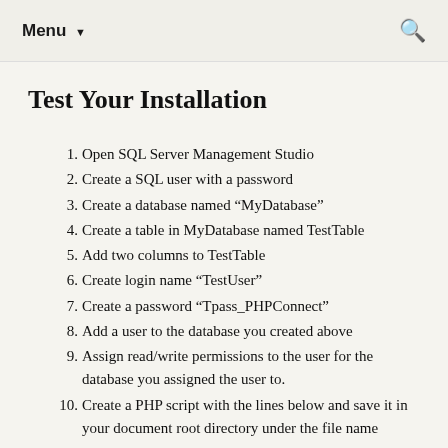Menu ▼
Test Your Installation
Open SQL Server Management Studio
Create a SQL user with a password
Create a database named “MyDatabase”
Create a table in MyDatabase named TestTable
Add two columns to TestTable
Create login name “TestUser”
Create a password “Tpass_PHPConnect”
Add a user to the database you created above
Assign read/write permissions to the user for the database you assigned the user to.
Create a PHP script with the lines below and save it in your document root directory under the file name